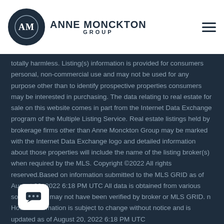Anne Monckton Group
totally harmless. Listing(s) information is provided for consumers personal, non-commercial use and may not be used for any purpose other than to identify prospective properties consumers may be interested in purchasing. The data relating to real estate for sale on this website comes in part from the Internet Data Exchange program of the Multiple Listing Service. Real estate listings held by brokerage firms other than Anne Monckton Group may be marked with the Internet Data Exchange logo and detailed information about those properties will include the name of the listing broker(s) when required by the MLS. Copyright ©2022 All rights reserved.Based on information submitted to the MLS GRID as of August 20, 2022 6:18 PM UTC All data is obtained from various sources and may not have been verified by broker or MLS GRID. n House Information is subject to change without notice and is updated as of August 20, 2022 6:18 PM UTC